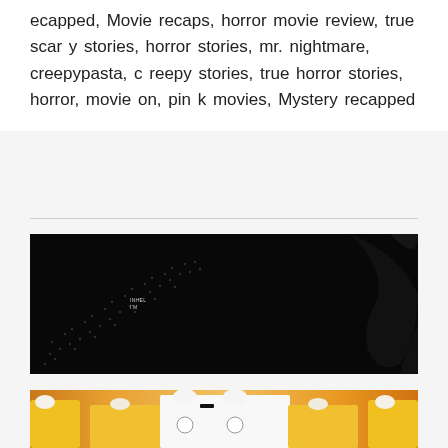ecapped, Movie recaps, horror movie review, true scary stories, horror stories, mr. nightmare, creepypasta, creepy stories, true horror stories, horror, movie on, pink movies, Mystery recapped
[Figure (photo): Dark banner image with black background, showing a curved dotted/wave pattern on the left side and a dark leaf/palm shape on the right. Small white text label in center-left area.]
[Figure (photo): Group photo of people in African attire — some wearing yellow dresses with white head wraps, others in white chef-style uniforms with green and red logo badges.]